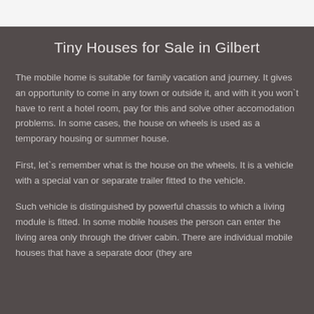Tiny Houses for Sale in Gilbert
The mobile home is suitable for family vacation and journey. It gives an opportunity to come in any town or outside it, and with it you won`t have to rent a hotel room, pay for this and solve other accomodation problems. In some cases, the house on wheels is used as a temporary housing or summer house.
First, let`s remember what is the house on the wheels. It is a vehicle with a special van or separate trailer fitted to the vehicle.
Such vehicle is distinguished by powerful chassis to which a living module is fitted. In some mobile houses the person can enter the living area only through the driver cabin. There are individual mobile houses that have a separate door (they are